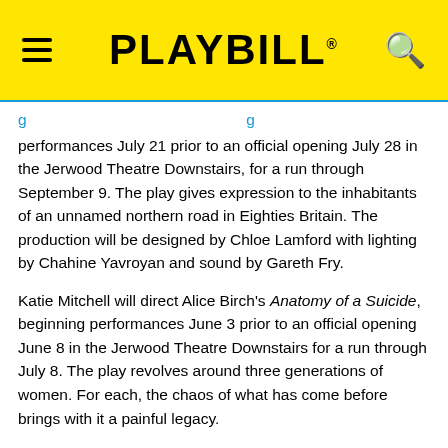PLAYBILL
performances July 21 prior to an official opening July 28 in the Jerwood Theatre Downstairs, for a run through September 9. The play gives expression to the inhabitants of an unnamed northern road in Eighties Britain. The production will be designed by Chloe Lamford with lighting by Chahine Yavroyan and sound by Gareth Fry.
Katie Mitchell will direct Alice Birch's Anatomy of a Suicide, beginning performances June 3 prior to an official opening June 8 in the Jerwood Theatre Downstairs for a run through July 8. The play revolves around three generations of women. For each, the chaos of what has come before brings with it a painful legacy.
The season in the Jerwood Theatre Upstairs also includes debbie tucker green's a profoundly affectionate, passionate